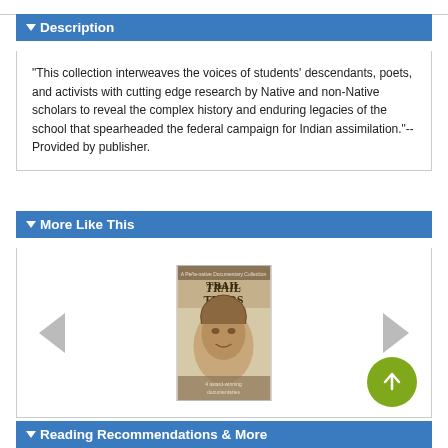Description
"This collection interweaves the voices of students' descendants, poets, and activists with cutting edge research by Native and non-Native scholars to reveal the complex history and enduring legacies of the school that spearheaded the federal campaign for Indian assimilation."--Provided by publisher.
More Like This
[Figure (photo): Book cover for 'Trail of Tears' with an image of a Native American elder and text '4 award-winning documentaries']
Reading Recommendations & More